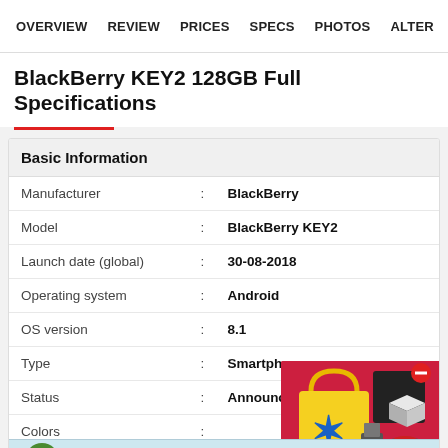OVERVIEW  REVIEW  PRICES  SPECS  PHOTOS  ALTER
BlackBerry KEY2 128GB Full Specifications
| Field | : | Value |
| --- | --- | --- |
| Basic Information |  |  |
| Manufacturer | : | BlackBerry |
| Model | : | BlackBerry KEY2 |
| Launch date (global) | : | 30-08-2018 |
| Operating system | : | Android |
| OS version | : | 8.1 |
| Type | : | Smartphone |
| Status | : | Announced |
| Colors | : |  |
[Figure (infographic): Flipkart shopping ad with red gift box and appliances]
[Figure (infographic): PIA VPN advertisement banner with ghost logo and orange arrow button. Text: PIA™ VPN Official Site | World's Most Trusted VPN]